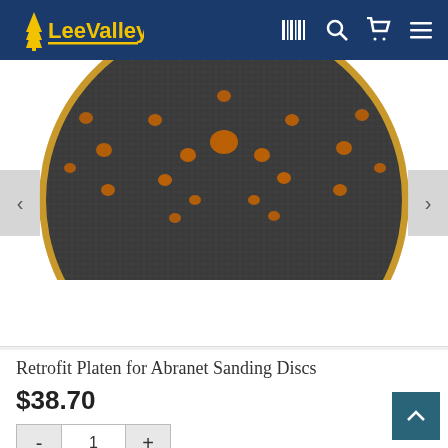Lee Valley
[Figure (photo): Close-up photo of a circular sanding disc platen with dark mesh surface and orange/amber colored holes arranged in a pattern. The disc has a gold/yellow rim. Shown from slightly above, cropped so only top portion visible.]
Retrofit Platen for Abranet Sanding Discs
$38.70
- 1 +